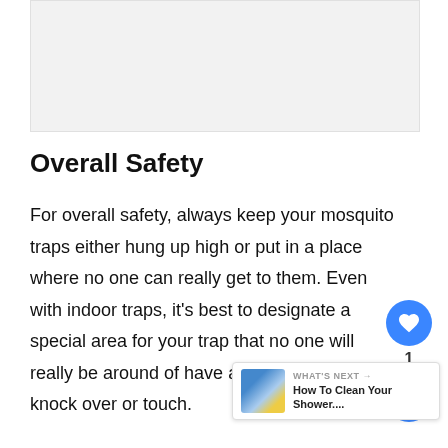[Figure (other): Advertisement placeholder banner, light gray background]
Overall Safety
For overall safety, always keep your mosquito traps either hung up high or put in a place where no one can really get to them. Even with indoor traps, it's best to designate a special area for your trap that no one will really be around of have an opportunity to knock over or touch. sight, out of mind, basically.